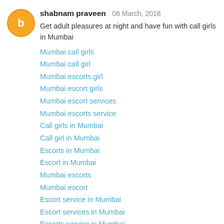shabnam praveen 08 March, 2018
Get adult pleasures at night and have fun with call girls in Mumbai
Mumbai call girls
Mumbai call girl
Mumbai escorts girl
Mumbai escort girls
Mumbai escort services
Mumbai escorts service
Call girls in Mumbai
Call girl in Mumbai
Escorts in Mumbai
Escort in Mumbai
Mumbai escorts
Mumbai escort
Escort service in Mumbai
Escort services in Mumbai
Escorts service in Mumbai
Reply